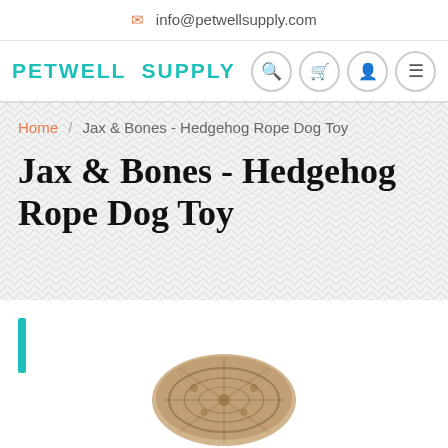info@petwellsupply.com
[Figure (logo): Petwell Supply logo with teal text and navigation icons (search, cart, account, menu)]
Home / Jax & Bones - Hedgehog Rope Dog Toy
Jax & Bones - Hedgehog Rope Dog Toy
[Figure (photo): Partial photo of a hedgehog-shaped rope dog toy, natural braided rope material, cut off at bottom of page]